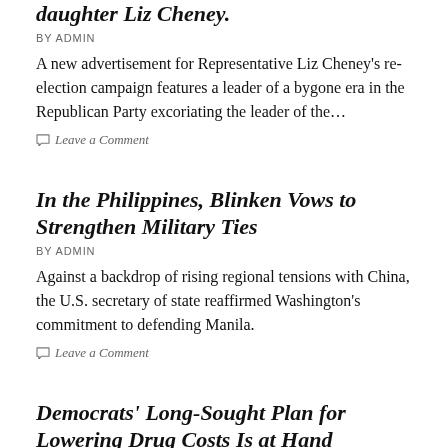daughter Liz Cheney.
BY ADMIN
A new advertisement for Representative Liz Cheney's re-election campaign features a leader of a bygone era in the Republican Party excoriating the leader of the…
Leave a Comment
In the Philippines, Blinken Vows to Strengthen Military Ties
BY ADMIN
Against a backdrop of rising regional tensions with China, the U.S. secretary of state reaffirmed Washington's commitment to defending Manila.
Leave a Comment
Democrats' Long-Sought Plan for Lowering Drug Costs Is at Hand
BY ADMIN
For years, in a Medicare program, negotiating drug prices directly with the…